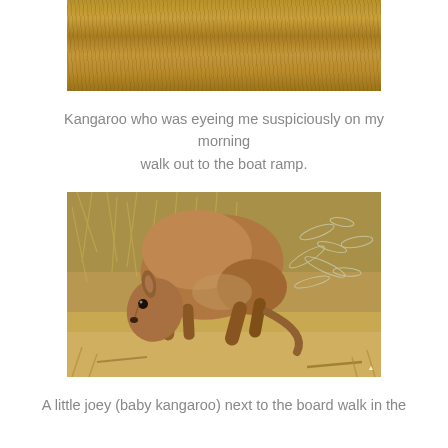[Figure (photo): Top portion of a photo showing dry golden-brown grass, cropped at the top of the page]
Kangaroo who was eyeing me suspiciously on my morning walk out to the boat ramp.
[Figure (photo): A small joey (baby kangaroo) crouched low on sandy ground surrounded by dry grass and pale leaves, looking toward the camera]
A little joey (baby kangaroo) next to the board walk in the